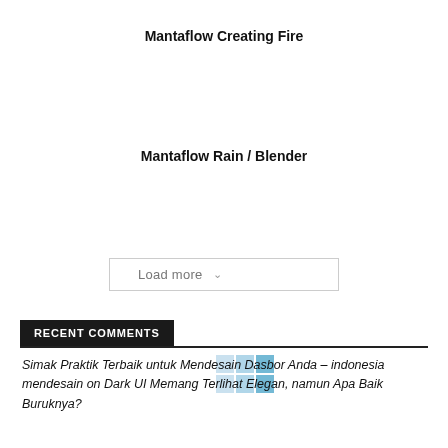Mantaflow Creating Fire
Mantaflow Rain / Blender
Load more
RECENT COMMENTS
Simak Praktik Terbaik untuk Mendesain Dasbor Anda – indonesia mendesain on Dark UI Memang Terlihat Elegan, namun Apa Baik Buruknya?